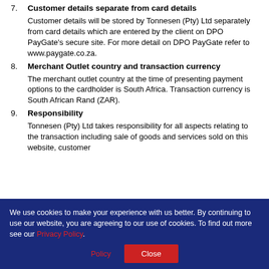7. Customer details separate from card details
Customer details will be stored by Tonnesen (Pty) Ltd separately from card details which are entered by the client on DPO PayGate's secure site. For more detail on DPO PayGate refer to www.paygate.co.za.
8. Merchant Outlet country and transaction currency
The merchant outlet country at the time of presenting payment options to the cardholder is South Africa. Transaction currency is South African Rand (ZAR).
9. Responsibility
Tonnesen (Pty) Ltd takes responsibility for all aspects relating to the transaction including sale of goods and services sold on this website, customer
We use cookies to make your experience with us better. By continuing to use our website, you are agreeing to our use of cookies. To find out more see our Privacy Policy.